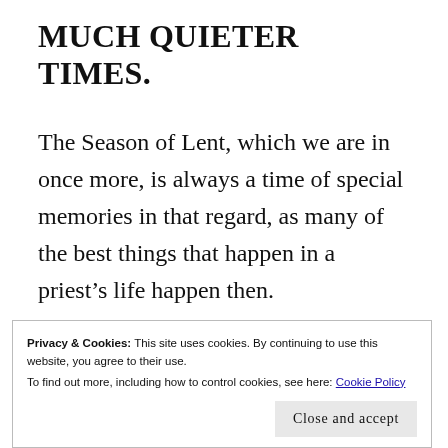MUCH QUIETER TIMES.
The Season of Lent, which we are in once more, is always a time of special memories in that regard, as many of the best things that happen in a priest’s life happen then.
Privacy & Cookies: This site uses cookies. By continuing to use this website, you agree to their use.
To find out more, including how to control cookies, see here: Cookie Policy
Close and accept